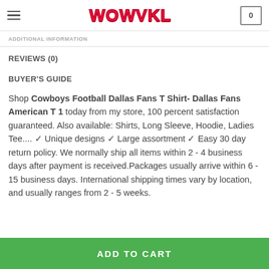WOWVKL | 0
ADDITIONAL INFORMATION
REVIEWS (0)
BUYER'S GUIDE
Shop Cowboys Football Dallas Fans T Shirt- Dallas Fans American T 1 today from my store, 100 percent satisfaction guaranteed. Also available: Shirts, Long Sleeve, Hoodie, Ladies Tee.... ✓ Unique designs ✓ Large assortment ✓ Easy 30 day return policy. We normally ship all items within 2 - 4 business days after payment is received.Packages usually arrive within 6 - 15 business days. International shipping times vary by location, and usually ranges from 2 - 5 weeks.
ADD TO CART